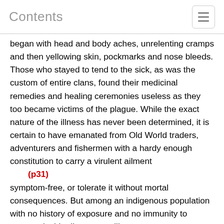Contents
began with head and body aches, unrelenting cramps and then yellowing skin, pockmarks and nose bleeds. Those who stayed to tend to the sick, as was the custom of entire clans, found their medicinal remedies and healing ceremonies useless as they too became victims of the plague. While the exact nature of the illness has never been determined, it is certain to have emanated from Old World traders, adventurers and fishermen with a hardy enough constitution to carry a virulent ailment
(p31)
symptom-free, or tolerate it without mortal consequences. But among an indigenous population with no history of exposure and no immunity to communicable disease, an illness as common as a simple cold would have been devastating. As a result, the sickness spread with abandon, debilitating victims